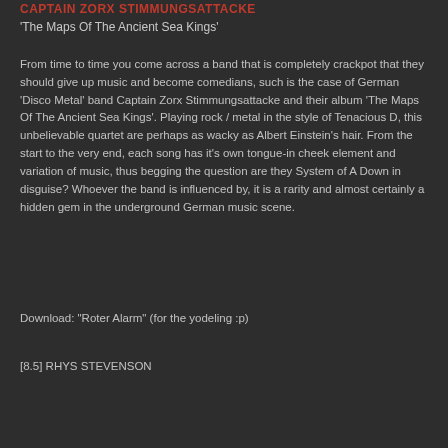CAPTAIN ZORX STIMMUNGSATTACKE
'The Maps Of The Ancient Sea Kings'
From time to time you come across a band that is completely crackpot that they should give up music and become comedians, such is the case of German 'Disco Metal' band Captain Zorx Stimmungsattacke and their album 'The Maps Of The Ancient Sea Kings'. Playing rock / metal in the style of Tenacious D, this unbelievable quartet are perhaps as wacky as Albert Einstein's hair. From the start to the very end, each song has it's own tongue-in cheek element and variation of music, thus begging the question are they System of A Down in disguise? Whoever the band is influenced by, it is a rarity and almost certainly a hidden gem in the underground German music scene.
Download: "Roter Alarm" (for the yodeling :p)
[8.5] RHYS STEVENSON